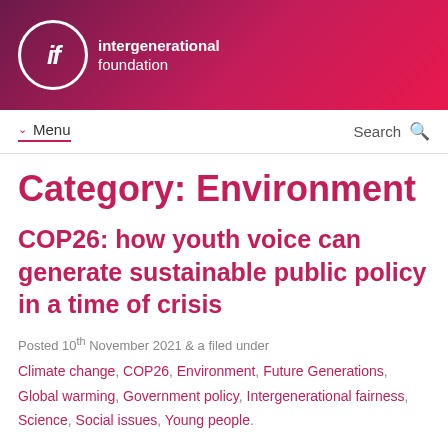intergenerational foundation
Menu | Search
Category: Environment
COP26: how youth voice can generate sustainable public policy in a time of crisis
Posted 10th November 2021 & a filed under Climate change, COP26, Environment, Future Generations, Global warming, Government policy, Intergenerational fairness, Science, Social issues, Young people.